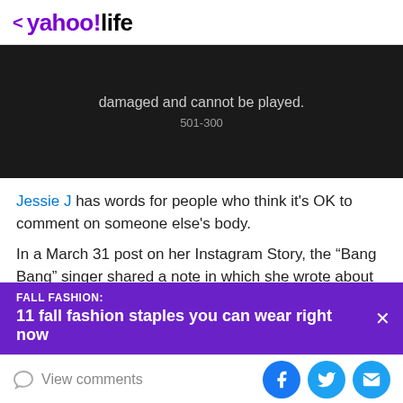< yahoo!life
[Figure (screenshot): Dark video player showing error message: 'damaged and cannot be played.' with error code 501-300]
Jessie J has words for people who think it's OK to comment on someone else's body.
In a March 31 post on her Instagram Story, the “Bang Bang” singer shared a note in which she wrote about how
FALL FASHION: 11 fall fashion staples you can wear right now
View comments